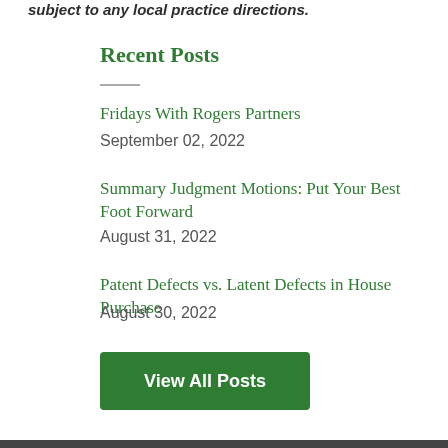subject to any local practice directions.
Recent Posts
Fridays With Rogers Partners
September 02, 2022
Summary Judgment Motions: Put Your Best Foot Forward
August 31, 2022
Patent Defects vs. Latent Defects in House Purchase
August 30, 2022
View All Posts